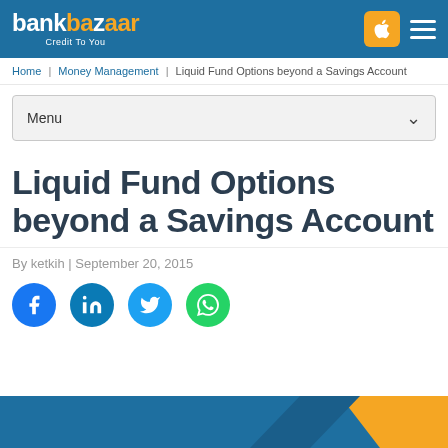bankbazaar — Credit To You
Home | Money Management | Liquid Fund Options beyond a Savings Account
Menu
Liquid Fund Options beyond a Savings Account
By ketkih | September 20, 2015
[Figure (illustration): Social sharing buttons: Facebook, LinkedIn, Twitter, WhatsApp]
[Figure (illustration): Partial banner image at bottom of page with blue and orange gradient]